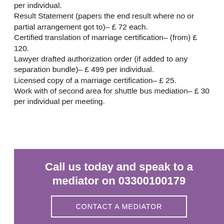per individual. Result Statement (papers the end result where no or partial arrangement got to)– £ 72 each. Certified translation of marriage certification– (from) £ 120. Lawyer drafted authorization order (if added to any separation bundle)– £ 499 per individual. Licensed copy of a marriage certification– £ 25. Work with of second area for shuttle bus mediation– £ 30 per individual per meeting.
Call us today and speak to a mediator on 03300100179
CONTACT A MEDIATOR